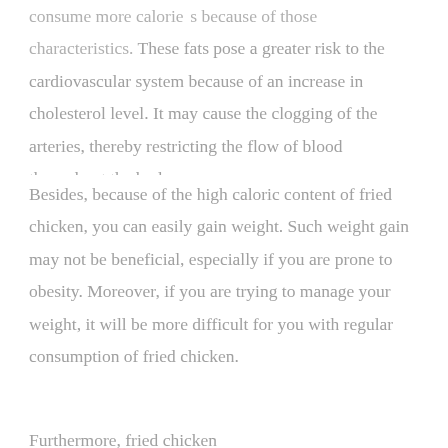consume more calories because of those characteristics. These fats pose a greater risk to the cardiovascular system because of an increase in cholesterol level. It may cause the clogging of the arteries, thereby restricting the flow of blood throughout the body.
Besides, because of the high caloric content of fried chicken, you can easily gain weight. Such weight gain may not be beneficial, especially if you are prone to obesity. Moreover, if you are trying to manage your weight, it will be more difficult for you with regular consumption of fried chicken.
Furthermore, fried chicken will...